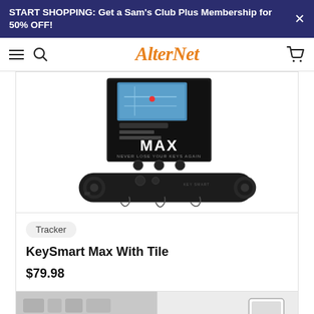START SHOPPING: Get a Sam's Club Plus Membership for 50% OFF!
[Figure (logo): AlterNet website navigation bar with hamburger menu, search icon, AlterNet logo in orange, and cart icon]
[Figure (photo): KeySmart Max With Tile product photo showing a black key organizer device in front of its packaging box which reads MAX NEVER LOSE YOUR KEYS AGAIN]
Tracker
KeySmart Max With Tile
$79.98
[Figure (photo): Partial view of product images at the bottom of the page, showing two product thumbnails cut off]